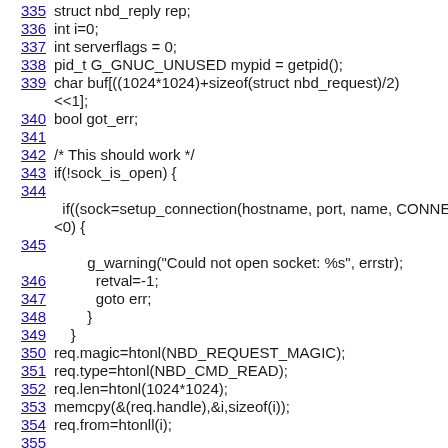Code snippet lines 335-355 showing C source code for NBD client connection handling
335    struct nbd_reply rep;
336    int i=0;
337    int serverflags = 0;
338    pid_t G_GNUC_UNUSED mypid = getpid();
339    char buf[((1024*1024)+sizeof(struct nbd_request)/2) <<1];
340    bool got_err;
341
342    /* This should work */
343    if(!sock_is_open) {
344
if((sock=setup_connection(hostname, port, name, CONNE<0) {
345
g_warning("Could not open socket: %s", errstr);
346            retval=-1;
347            goto err;
348        }
349    }
350    req.magic=htonl(NBD_REQUEST_MAGIC);
351    req.type=htonl(NBD_CMD_READ);
352    req.len=htonl(1024*1024);
353    memcpy(&(req.handle),&i,sizeof(i));
354    req.from=htonll(i);
355